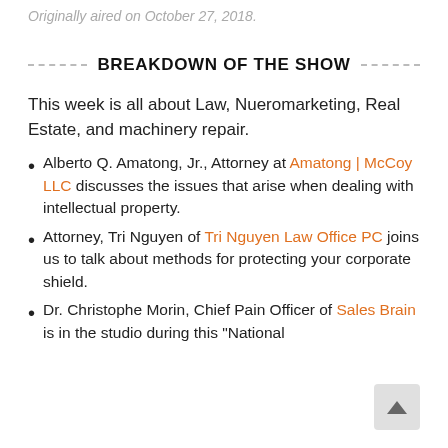Originally aired on October 27, 2018.
BREAKDOWN OF THE SHOW
This week is all about Law, Nueromarketing, Real Estate, and machinery repair.
Alberto Q. Amatong, Jr., Attorney at Amatong | McCoy LLC discusses the issues that arise when dealing with intellectual property.
Attorney, Tri Nguyen of Tri Nguyen Law Office PC joins us to talk about methods for protecting your corporate shield.
Dr. Christophe Morin, Chief Pain Officer of Sales Brain is in the studio during this "National